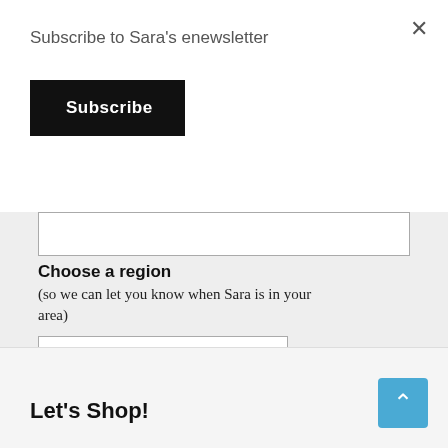Subscribe to Sara's enewsletter
Subscribe
Choose a region
(so we can let you know when Sara is in your area)
Email Format  HTML  Text  Mobile
Subscribe  View eNewsletter Archive
Let's Shop!